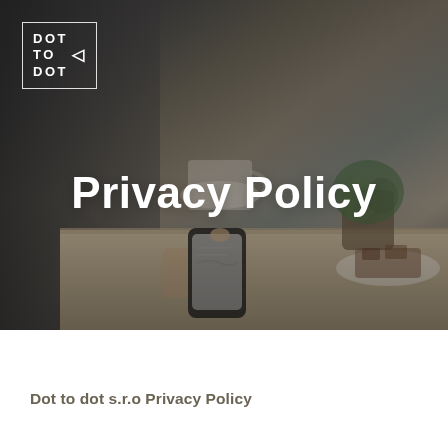[Figure (photo): Background photo of a person sitting at a café table holding a smartphone, with a coffee cup, plant, and plate of food visible on the table. Dark-toned atmospheric photo with dimmed overlay.]
Privacy Policy
Dot to dot s.r.o Privacy Policy